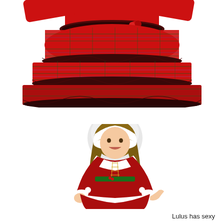[Figure (photo): Close-up product photo of a red tartan ruffled tutu skirt with plaid layered tiers and dark red frilled hem, shown on a mannequin torso against a white background.]
[Figure (photo): Photo of a smiling young girl wearing a red velvet Mrs. Santa Claus Christmas costume with white faux-fur trim, hood, gold lace-up bodice detail, green holly belt, and long sleeves, posed against a white background.]
Lulus has sexy